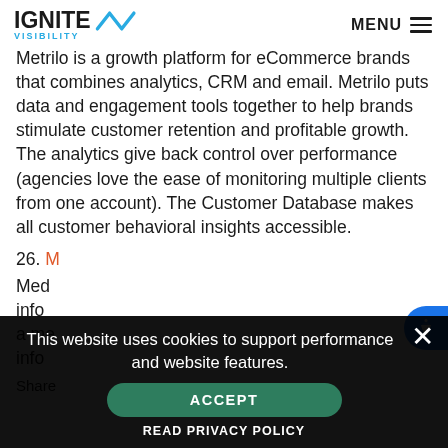IGNITE VISIBILITY | MENU
Metrilo is a growth platform for eCommerce brands that combines analytics, CRM and email. Metrilo puts data and engagement tools together to help brands stimulate customer retention and profitable growth. The analytics give back control over performance (agencies love the ease of monitoring multiple clients from one account). The Customer Database makes all customer behavioral insights accessible.
26. M[etrilo]
Med[ia...] info[rmation...] a me[dia platform...] info[rmation...]
Share
[Figure (screenshot): Cookie consent banner with dark background overlay. Text reads: 'This website uses cookies to support performance and website features.' with an ACCEPT button and READ PRIVACY POLICY link. A close X button is in the top right corner.]